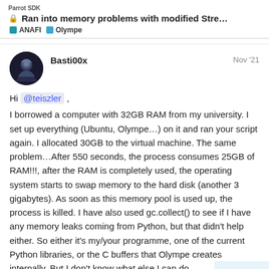Ran into memory problems with modified Stre... | Parrot SDK | ANAFI | Olympe
Basti00x — Nov '21
Hi @teiszler , I borrowed a computer with 32GB RAM from my university. I set up everything (Ubuntu, Olympe…) on it and ran your script again. I allocated 30GB to the virtual machine. The same problem…After 550 seconds, the process consumes 25GB of RAM!!!, after the RAM is completely used, the operating system starts to swap memory to the hard disk (another 3 gigabytes). As soon as this memory pool is used up, the process is killed. I have also used gc.collect() to see if I have any memory leaks coming from Python, but that didn't help either. So either it's my/your programme, one of the current Python libraries, or the C buffers that Olympe creates internally. But I don't know what else I can do.
Regards,
4 / 19